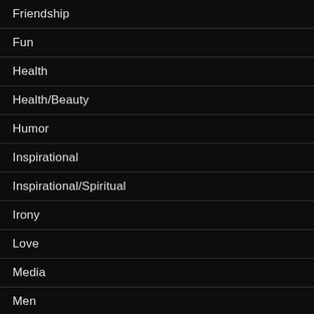Friendship
Fun
Health
Health/Beauty
Humor
Inspirational
Inspirational/Spiritual
Irony
Love
Media
Men
MOVIE REVIEWS
Politics